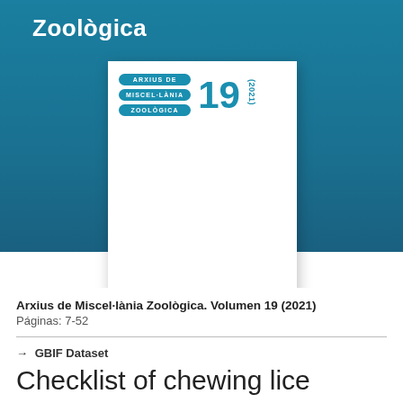Zoològica
[Figure (illustration): Journal cover of Arxius de Miscel·lània Zoològica, Volume 19 (2021), showing teal badge labels with text ARXIUS DE MISCEL·LÀNIA ZOOLÒGICA and large number 19 with (2021) in vertical text.]
Arxius de Miscel·lània Zoològica. Volumen 19 (2021)
Páginas: 7-52
→ GBIF Dataset
Checklist of chewing lice